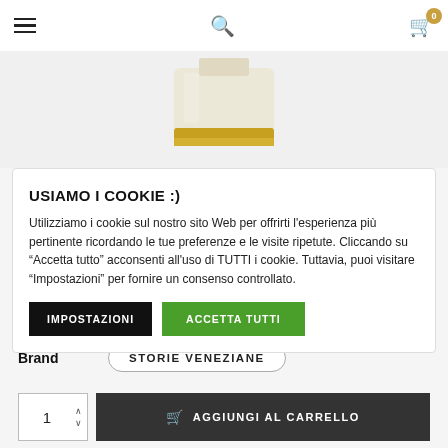Navigation bar with hamburger menu, search icon, and cart icon with badge 0
[Figure (photo): Product image — partially visible bottle or fragrance product with gold/cream coloring at top of page]
USIAMO I COOKIE :)
Utilizziamo i cookie sul nostro sito Web per offrirti l'esperienza più pertinente ricordando le tue preferenze e le visite ripetute. Cliccando su "Accetta tutto" acconsenti all'uso di TUTTI i cookie. Tuttavia, puoi visitare "Impostazioni" per fornire un consenso controllato.
IMPOSTAZIONI    ACCETTA TUTTI
Brand    STORIE VENEZIANE
1    AGGIUNGI AL CARRELLO